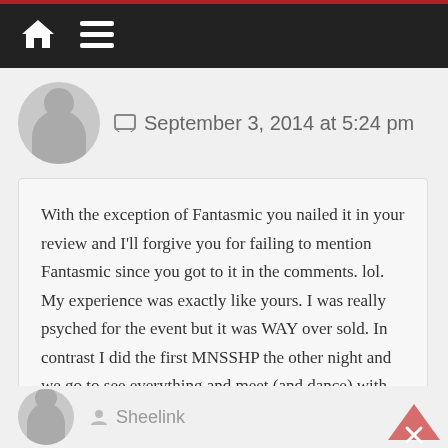Navigation bar with home and menu icons
September 3, 2014 at 5:24 pm
With the exception of Fantasmic you nailed it in your review and I'll forgive you for failing to mention Fantasmic since you got to it in the comments. lol. My experience was exactly like yours. I was really psyched for the event but it was WAY over sold. In contrast I did the first MNSSHP the other night and we go to see everything and meet (and dance) with some villains and characters. Villains should be done over multiple weeks in August and September even if it overlaps with MNSSHP. There are plenty of people (like me) who would see both but after my experience with villains I'd probably never go back.
Reply
Sheelink